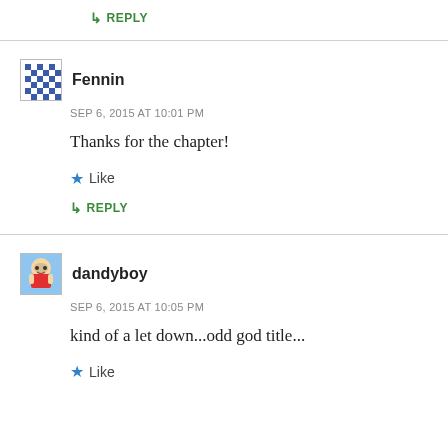↳ REPLY
Fennin
SEP 6, 2015 AT 10:01 PM
Thanks for the chapter!
Like
↳ REPLY
dandyboy
SEP 6, 2015 AT 10:05 PM
kind of a let down...odd god title...
Like